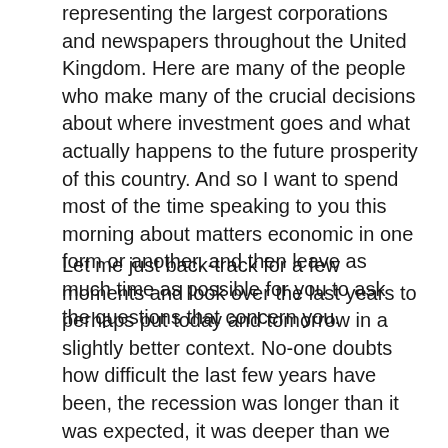representing the largest corporations and newspapers throughout the United Kingdom. Here are many of the people who make many of the crucial decisions about where investment goes and what actually happens to the future prosperity of this country. And so I want to spend most of the time speaking to you this morning about matters economic in one form or another, and then leave as much time as possible for you to ask the questions that concern you.
Let me just back-track for a few moments and look over the last years to perhaps put today and tomorrow in a slightly better context. No-one doubts how difficult the last few years have been, the recession was longer than it was expected, it was deeper than we expected, it had a more profound psychological effect upon thinking in this country than many people anticipated when it